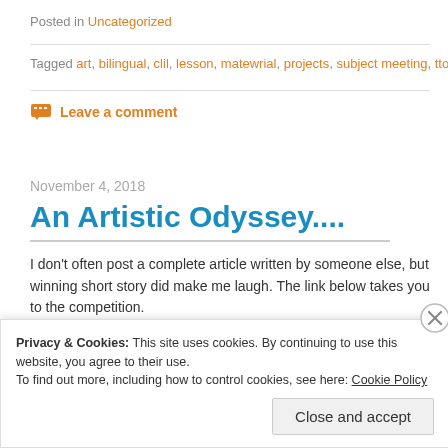Posted in Uncategorized
Tagged art, bilingual, clil, lesson, matewrial, projects, subject meeting, tto, utrec
Leave a comment
November 4, 2018
An Artistic Odyssey....
I don't often post a complete article written by someone else, but winning short story did make me laugh. The link below takes you to the competition.
Privacy & Cookies: This site uses cookies. By continuing to use this website, you agree to their use.
To find out more, including how to control cookies, see here: Cookie Policy